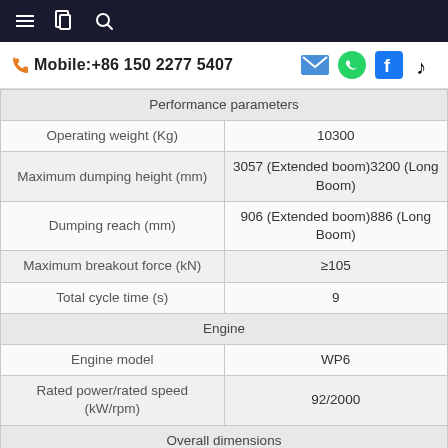Mobile:+86 150 2277 5407
| Parameter | Value |
| --- | --- |
| Performance parameters |  |
| Operating weight (Kg) | 10300 |
| Maximum dumping height (mm) | 3057 (Extended boom)3200 (Long Boom) |
| Dumping reach (mm) | 906 (Extended boom)886 (Long Boom) |
| Maximum breakout force (kN) | ≥105 |
| Total cycle time (s) | 9 |
| Engine |  |
| Engine model | WP6 |
| Rated power/rated speed (kW/rpm) | 92/2000 |
| Overall dimensions |  |
| Overall dimensions of |  |